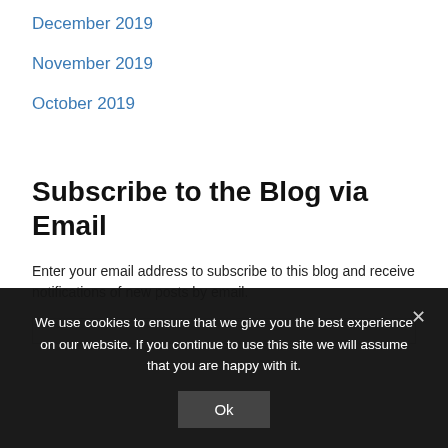December 2019
November 2019
October 2019
Subscribe to the Blog via Email
Enter your email address to subscribe to this blog and receive notifications of new posts by email.
We use cookies to ensure that we give you the best experience on our website. If you continue to use this site we will assume that you are happy with it.